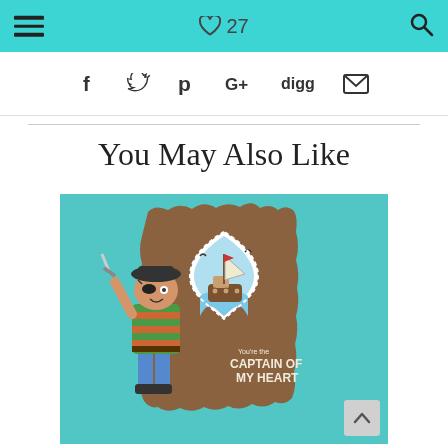☰  ♡ 27  🔍
f  𝕏  p  G+  digg  ✉
You May Also Like
[Figure (photo): A handmade greeting card featuring a cartoon pirate boy holding a sword, a heart-shaped window showing a sailing ship, and text reading 'You're the CAPTAIN OF MY HEART', displayed against a teal background.]